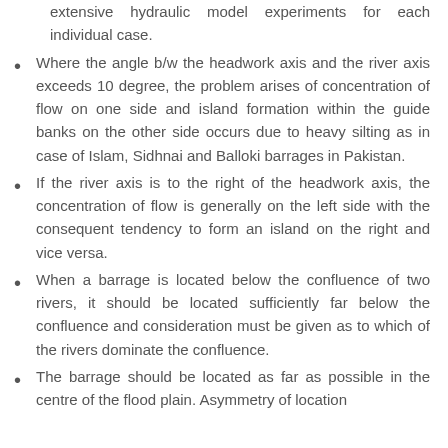extensive hydraulic model experiments for each individual case.
Where the angle b/w the headwork axis and the river axis exceeds 10 degree, the problem arises of concentration of flow on one side and island formation within the guide banks on the other side occurs due to heavy silting as in case of Islam, Sidhnai and Balloki barrages in Pakistan.
If the river axis is to the right of the headwork axis, the concentration of flow is generally on the left side with the consequent tendency to form an island on the right and vice versa.
When a barrage is located below the confluence of two rivers, it should be located sufficiently far below the confluence and consideration must be given as to which of the rivers dominate the confluence.
The barrage should be located as far as possible in the centre of the flood plain. Asymmetry of location